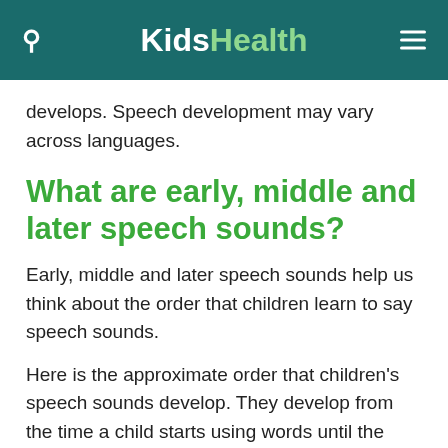KidsHealth
develops. Speech development may vary across languages.
What are early, middle and later speech sounds?
Early, middle and later speech sounds help us think about the order that children learn to say speech sounds.
Here is the approximate order that children's speech sounds develop. They develop from the time a child starts using words until the early